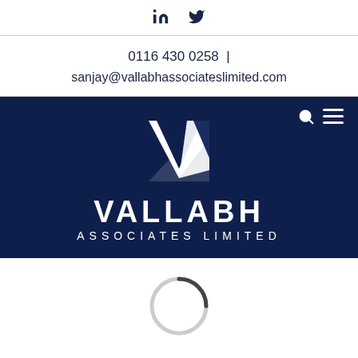[Figure (logo): LinkedIn and Twitter social media icons in dark navy]
0116 430 0258  |  sanjay@vallabhassociateslimited.com
[Figure (logo): Vallabh Associates Limited logo on dark navy background with geometric V mark, search icon and hamburger menu icon in top right]
[Figure (other): Partial loading spinner circle at bottom of page]